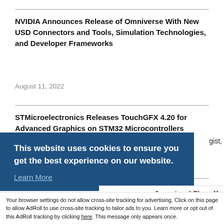NVIDIA Announces Release of Omniverse With New USD Connectors and Tools, Simulation Technologies, and Developer Frameworks
August 11, 2022
STMicroelectronics Releases TouchGFX 4.20 for Advanced Graphics on STM32 Microcontrollers
August 10, 2022
gist,
This website uses cookies to ensure you get the best experience on our website.
Learn More
ve
Accept and Close ✕
Your browser settings do not allow cross-site tracking for advertising. Click on this page to allow AdRoll to use cross-site tracking to tailor ads to you. Learn more or opt out of this AdRoll tracking by clicking here. This message only appears once.